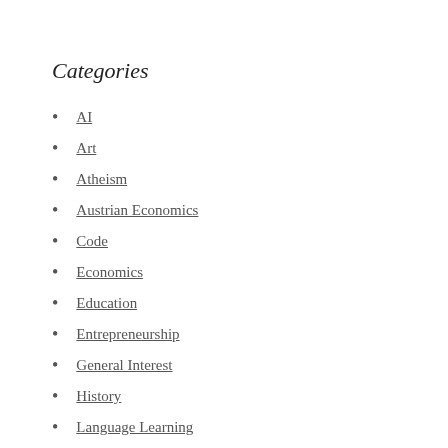Categories
AI
Art
Atheism
Austrian Economics
Code
Economics
Education
Entrepreneurship
General Interest
History
Language Learning
Mathematics
Mind